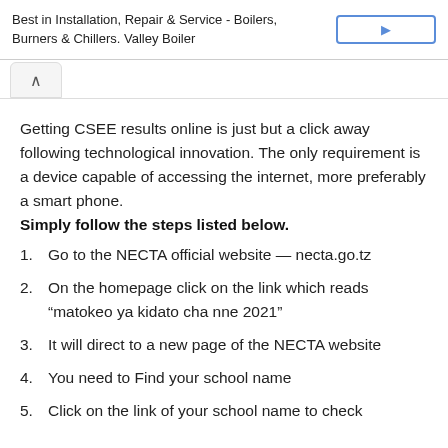Best in Installation, Repair & Service - Boilers, Burners & Chillers. Valley Boiler
Getting CSEE results online is just but a click away following technological innovation. The only requirement is a device capable of accessing the internet, more preferably a smart phone. Simply follow the steps listed below.
Go to the NECTA official website — necta.go.tz
On the homepage click on the link which reads “matokeo ya kidato cha nne 2021”
It will direct to a new page of the NECTA website
You need to Find your school name
Click on the link of your school name to check